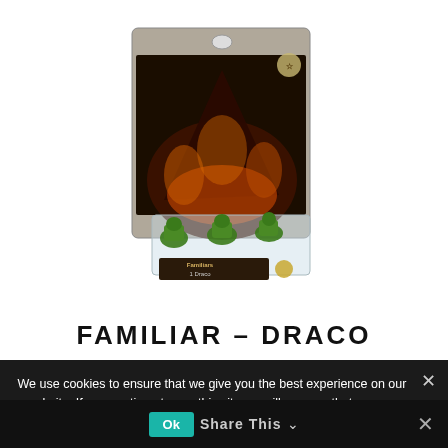[Figure (photo): Product photo of Familiar – Draco miniature board game blister pack. Contains green dragon-like miniature figures in a clear plastic blister. The backing card has a dark fiery fantasy artwork background with a branded logo at top.]
FAMILIAR – DRACO
We use cookies to ensure that we give you the best experience on our website. If you continue to use this site we will assume that you are happy with it.
Share This